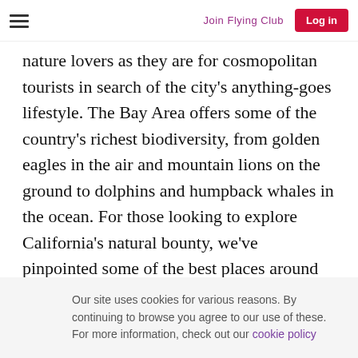Join Flying Club | Log in
nature lovers as they are for cosmopolitan tourists in search of the city's anything-goes lifestyle. The Bay Area offers some of the country's richest biodiversity, from golden eagles in the air and mountain lions on the ground to dolphins and humpback whales in the ocean. For those looking to explore California's natural bounty, we've pinpointed some of the best places around the Bay Area for spotting wildlife. Book a flight to California and pack some binoculars too
Our site uses cookies for various reasons. By continuing to browse you agree to our use of these. For more information, check out our cookie policy